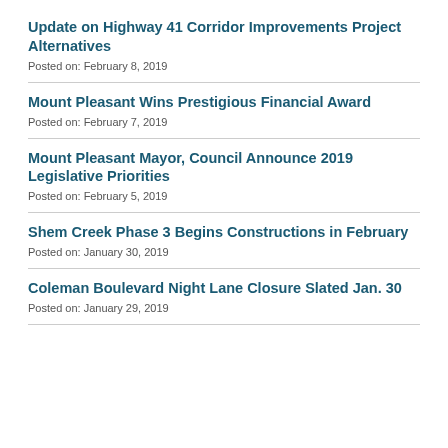Update on Highway 41 Corridor Improvements Project Alternatives
Posted on: February 8, 2019
Mount Pleasant Wins Prestigious Financial Award
Posted on: February 7, 2019
Mount Pleasant Mayor, Council Announce 2019 Legislative Priorities
Posted on: February 5, 2019
Shem Creek Phase 3 Begins Constructions in February
Posted on: January 30, 2019
Coleman Boulevard Night Lane Closure Slated Jan. 30
Posted on: January 29, 2019